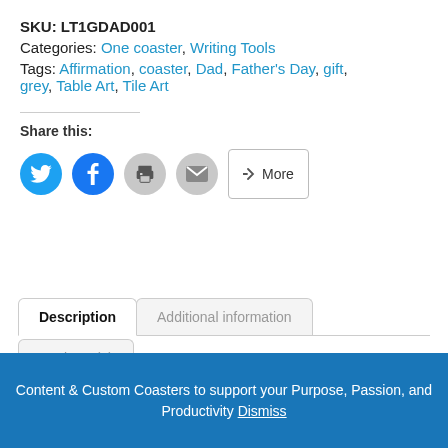SKU: LT1GDAD001
Categories: One coaster, Writing Tools
Tags: Affirmation, coaster, Dad, Father's Day, gift, grey, Table Art, Tile Art
Share this:
[Figure (infographic): Social share buttons: Twitter (blue circle), Facebook (blue circle), Print (grey circle), Email (grey circle), More (bordered button)]
Description | Additional information | Reviews (0) tabs
Content & Custom Coasters to support your Purpose, Passion, and Productivity Dismiss